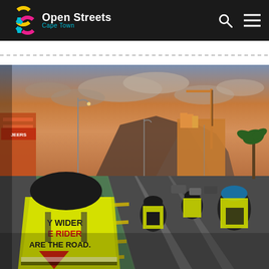Open Streets Cape Town
[Figure (photo): Group of cyclists in high-visibility yellow vests riding along a city street at sunset/dusk. The closest rider's vest reads 'Y WIDER / E RIDER / ARE THE ROAD.' They ride in a marked green bike lane. Urban buildings, street lights, mountains, and a dramatic cloudy sky are visible in the background.]